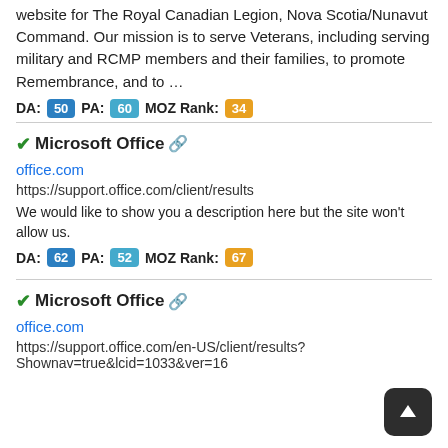website for The Royal Canadian Legion, Nova Scotia/Nunavut Command. Our mission is to serve Veterans, including serving military and RCMP members and their families, to promote Remembrance, and to …
DA: 50  PA: 60  MOZ Rank: 34
✓Microsoft Office 🔗
office.com
https://support.office.com/client/results
We would like to show you a description here but the site won't allow us.
DA: 62  PA: 52  MOZ Rank: 67
✓Microsoft Office 🔗
office.com
https://support.office.com/en-US/client/results?Shownav=true&lcid=1033&ver=16